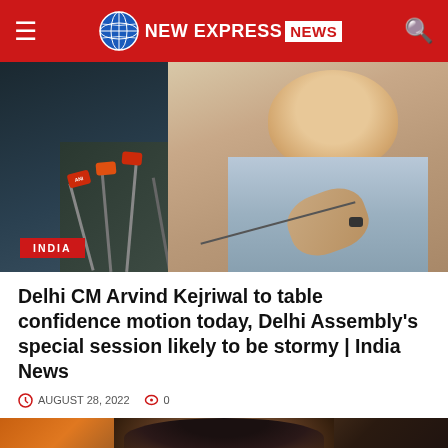NEW EXPRESS NEWS
[Figure (photo): Press conference photo showing Delhi CM Arvind Kejriwal gesturing with both hands at a press conference, surrounded by microphones with ANI and other media logos. An INDIA badge is shown at the bottom left of the image.]
Delhi CM Arvind Kejriwal to table confidence motion today, Delhi Assembly's special session likely to be stormy | India News
AUGUST 28, 2022   0
[Figure (photo): Partial photo of a person (partially visible, cropped) against an orange-brown background, at the bottom of the page.]